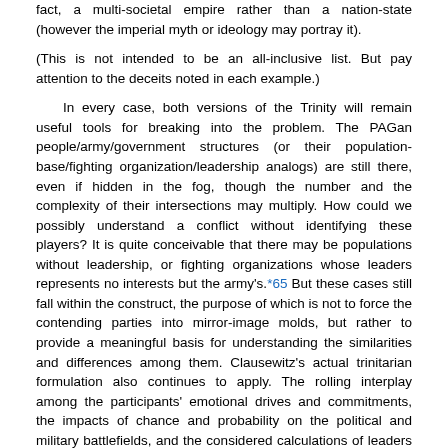fact, a multi-societal empire rather than a nation-state (however the imperial myth or ideology may portray it).
(This is not intended to be an all-inclusive list. But pay attention to the deceits noted in each example.)
In every case, both versions of the Trinity will remain useful tools for breaking into the problem. The PAGan people/army/government structures (or their population-base/fighting organization/leadership analogs) are still there, even if hidden in the fog, though the number and the complexity of their intersections may multiply. How could we possibly understand a conflict without identifying these players? It is quite conceivable that there may be populations without leadership, or fighting organizations whose leaders represents no interests but the army's.*65 But these cases still fall within the construct, the purpose of which is not to force the contending parties into mirror-image molds, but rather to provide a meaningful basis for understanding the similarities and differences among them. Clausewitz's actual trinitarian formulation also continues to apply. The rolling interplay among the participants' emotional drives and commitments, the impacts of chance and probability on the political and military battlefields, and the considered calculations of leaders on all sides—however blinded by uncertainty and enshrouded in